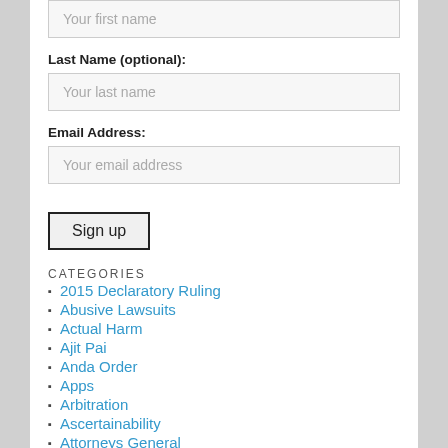[Figure (screenshot): Form input field with placeholder text 'Your first name' (partially visible at top of page)]
Last Name (optional):
[Figure (screenshot): Form input field with placeholder text 'Your last name']
Email Address:
[Figure (screenshot): Form input field with placeholder text 'Your email address']
Sign up
CATEGORIES
2015 Declaratory Ruling
Abusive Lawsuits
Actual Harm
Ajit Pai
Anda Order
Apps
Arbitration
Ascertainability
Attorneys General